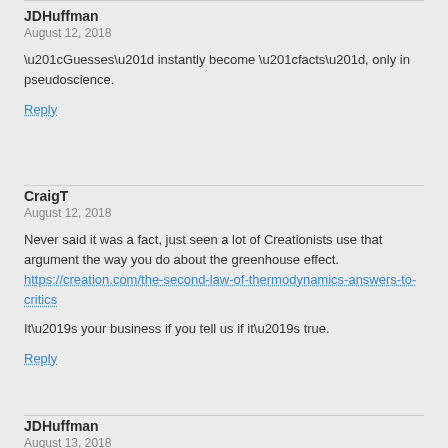JDHuffman
August 12, 2018
“Guesses” instantly become “facts”, only in pseudoscience.
Reply
CraigT
August 12, 2018
Never said it was a fact, just seen a lot of Creationists use that argument the way you do about the greenhouse effect. https://creation.com/the-second-law-of-thermodynamics-answers-to-critics
It’s your business if you tell us if it’s true.
Reply
JDHuffman
August 13, 2018